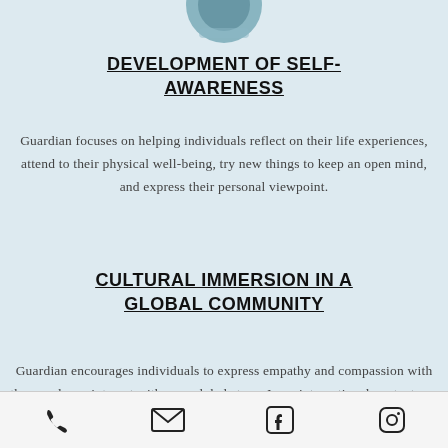[Figure (photo): Partial circular photo of a person visible at the top of the page]
DEVELOPMENT OF SELF-AWARENESS
Guardian focuses on helping individuals reflect on their life experiences, attend to their physical well-being, try new things to keep an open mind, and express their personal viewpoint.
CULTURAL IMMERSION IN A GLOBAL COMMUNITY
Guardian encourages individuals to express empathy and compassion with the people we interact with on a global stage. In an international context, we encourage a willingness to engage in positive growth-
Phone | Email | Facebook | Instagram icons